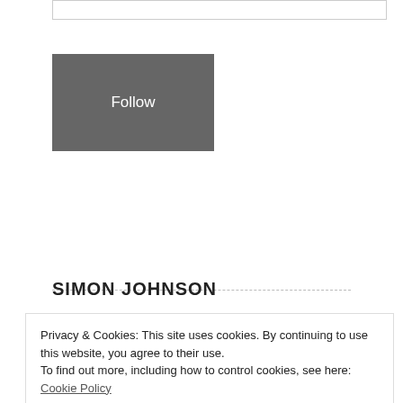[Figure (other): Input field border at top of page]
Follow
FACEBOOK
SIMON JOHNSON
Privacy & Cookies: This site uses cookies. By continuing to use this website, you agree to their use.
To find out more, including how to control cookies, see here: Cookie Policy
Close and accept
JAMES KWAK